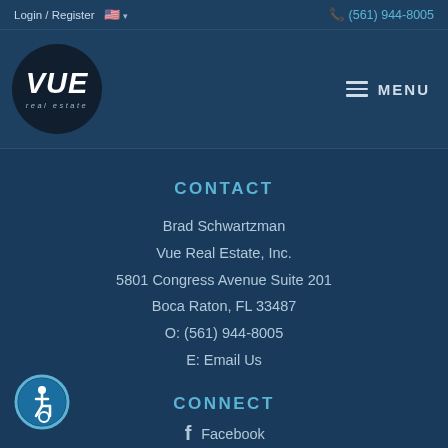Login / Register  🇺🇸 ▾   📞 (561) 944-8005
[Figure (logo): VUE Real Estate circular dark logo with white italic text VUE and subtitle real estate]
MENU
CONTACT
Brad Schwartzman
Vue Real Estate, Inc.
5801 Congress Avenue Suite 201
Boca Raton, FL 33487
O: (561) 944-8005
E: Email Us
CONNECT
Facebook
[Figure (illustration): Accessibility icon — circular blue badge with wheelchair user symbol]